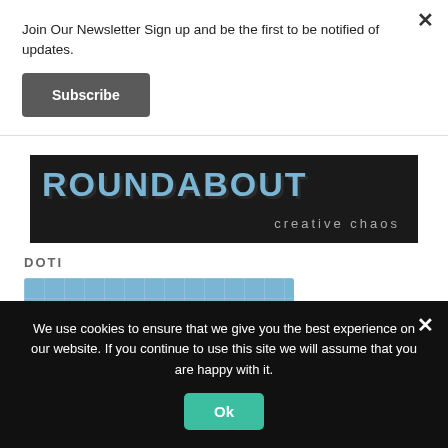Join Our Newsletter Sign up and be the first to be notified of updates.
Subscribe
[Figure (logo): Roundabout creative chaos logo banner — dark background with blue 3D block letters spelling ROUNDABOUT and subtitle 'creative chaos']
DOTI
[Figure (screenshot): Partial screenshot of a blue grid-background image with a small circular gray button/knob visible]
We use cookies to ensure that we give you the best experience on our website. If you continue to use this site we will assume that you are happy with it.
Ok